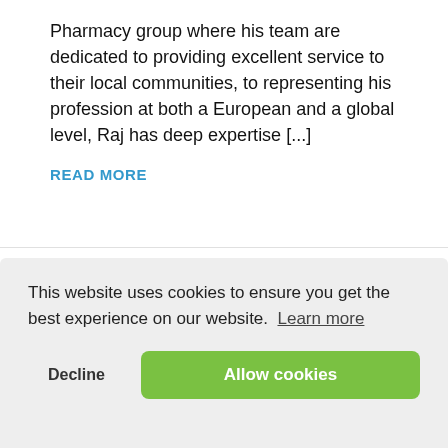Pharmacy group where his team are dedicated to providing excellent service to their local communities, to representing his profession at both a European and a global level, Raj has deep expertise [...]
READ MORE
[Figure (logo): Partial circular logo with teal/blue text reading 'r for Fair Intern' visible, with decorative swoosh elements on left and right]
This website uses cookies to ensure you get the best experience on our website.  Learn more
Decline
Allow cookies